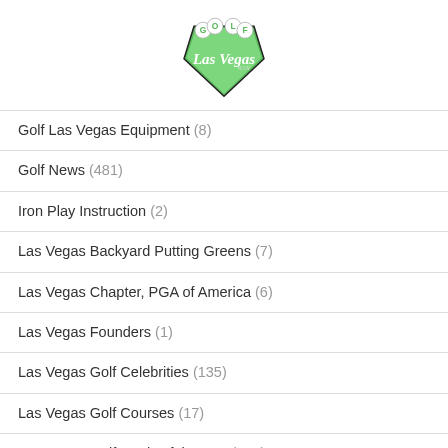[Figure (logo): Golf Las Vegas logo - green diamond shape with GOLF lettering in circles and cursive Las Vegas text]
Golf Las Vegas Equipment (8)
Golf News (481)
Iron Play Instruction (2)
Las Vegas Backyard Putting Greens (7)
Las Vegas Chapter, PGA of America (6)
Las Vegas Founders (1)
Las Vegas Golf Celebrities (135)
Las Vegas Golf Courses (17)
Las Vegas Golf Deals of the Day (432)
Las Vegas Golf History (16)